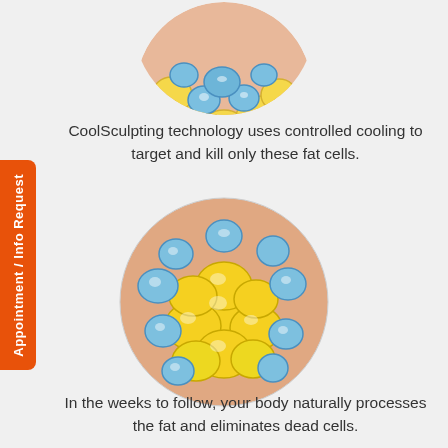[Figure (illustration): Close-up circular medical illustration showing blue and yellow fat cells under the skin, viewed from above, partially visible at top of page]
CoolSculpting technology uses controlled cooling to target and kill only these fat cells.
[Figure (illustration): Circular medical illustration showing larger yellow fat cells mixed with smaller blue crystallized/dead fat cells against a skin-toned background]
In the weeks to follow, your body naturally processes the fat and eliminates dead cells.